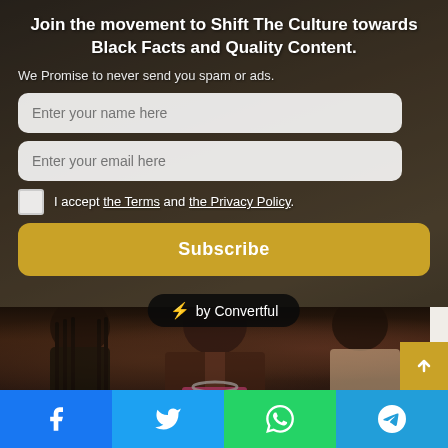Join the movement to Shift The Culture towards Black Facts and Quality Content.
We Promise to never send you spam or ads.
Enter your name here
Enter your email here
I accept the Terms and the Privacy Policy.
Subscribe
[Figure (logo): Convertful branding badge with lightning bolt emoji: ⚡ by Convertful]
[Figure (photo): People at an event, women in foreground with braids and pink outfit, man in brown leather jacket]
Social sharing bar with Facebook, Twitter, WhatsApp, Telegram icons